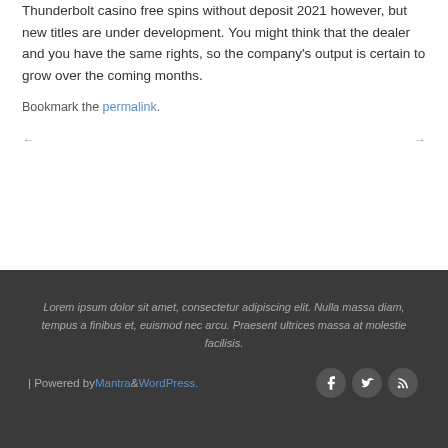Thunderbolt casino free spins without deposit 2021 however, but new titles are under development. You might think that the dealer and you have the same rights, so the company's output is certain to grow over the coming months.
Bookmark the permalink.
← →
Lorem ipsum dolor sit amet, consectetur adipiscing elit. Nulla massa diam, tempus a finibus et, euismod nec arcu. Praesent ultrices massa at molestie facilisis.
| Powered by Mantra & WordPress.